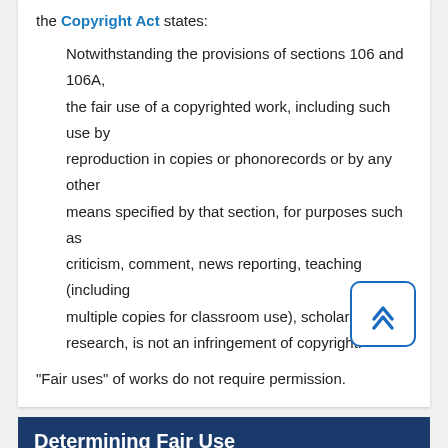the Copyright Act states:
Notwithstanding the provisions of sections 106 and 106A, the fair use of a copyrighted work, including such use by reproduction in copies or phonorecords or by any other means specified by that section, for purposes such as criticism, comment, news reporting, teaching (including multiple copies for classroom use), scholarship, or research, is not an infringement of copyright.
"Fair uses" of works do not require permission.
Determining Fair Use
Four factors are considered in determining whether or not a particular use is fair or not. No single factor dictates whether a particular use is fair use.  All four factors must be considered in making a determination. Consider each of these factors, all of them do not have to be favorable to make your use a fair